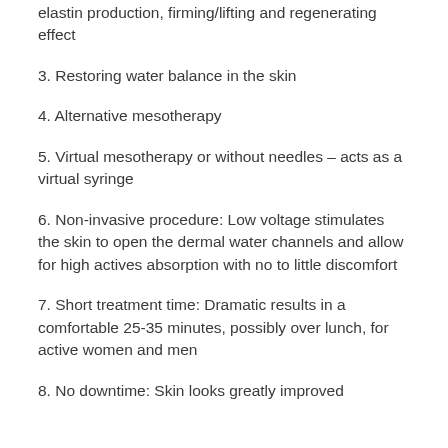elastin production, firming/lifting and regenerating effect
3. Restoring water balance in the skin
4. Alternative mesotherapy
5. Virtual mesotherapy or without needles – acts as a virtual syringe
6. Non-invasive procedure: Low voltage stimulates the skin to open the dermal water channels and allow for high actives absorption with no to little discomfort
7. Short treatment time: Dramatic results in a comfortable 25-35 minutes, possibly over lunch, for active women and men
8. No downtime: Skin looks greatly improved